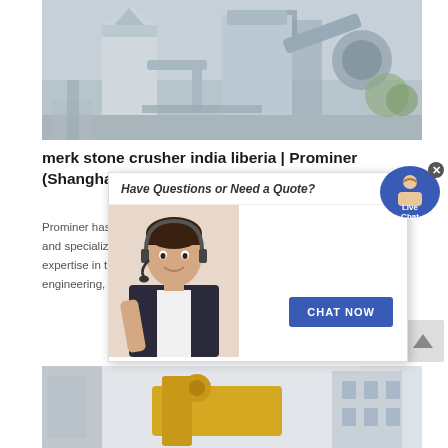[Figure (photo): Industrial stone crusher / mineral processing machinery with silos and conveyor equipment, outdoor facility]
merk stone crusher india liberia | Prominer (Shanghai) Mining Technology Co.,Ltd.
[Figure (screenshot): Live chat popup overlay with customer service representative, 'Have Questions or Need a Quote?' header, CHAT NOW button, and close X button]
[Figure (illustration): Live Chat speech bubble icon with customer service agent illustration]
Prominer has been devoted to mineral processing industry for decades and specializes in mineral upgrading and deep processing. With expertise in the fields of mineral project development, mining, test study, engineering, technological processing..
[Figure (photo): Partially visible image of industrial/mining equipment at bottom of page]